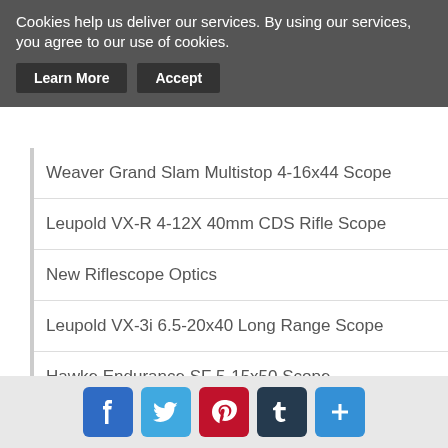Cookies help us deliver our services. By using our services, you agree to our use of cookies.
Learn More
Accept
Weaver Grand Slam Multistop 4-16x44 Scope
Leupold VX-R 4-12X 40mm CDS Rifle Scope
New Riflescope Optics
Leupold VX-3i 6.5-20x40 Long Range Scope
Hawke Endurance SF 5-15x50 Scope
US Issue Military Optics
Tactical Weapons Displays
Air Gun Scope Selection
Aimpoint Micro T-1 Red Dot Sight
[Figure (infographic): Social sharing icons: Facebook, Twitter, Pinterest, Tumblr, and a plus/more button]